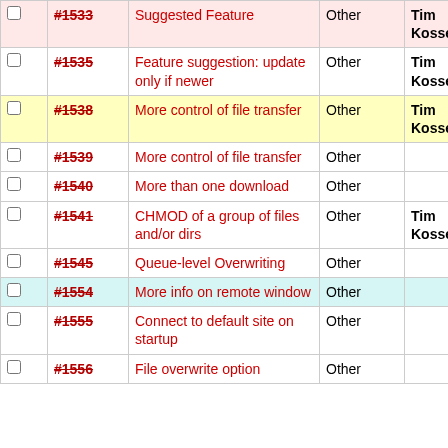|  | ID | Title | Type | User |  |
| --- | --- | --- | --- | --- | --- |
|  | #1533 | Suggested Feature | Other | Tim Kosse | b |
|  | #1535 | Feature suggestion: update only if newer | Other | Tim Kosse | n |
|  | #1538 | More control of file transfer | Other | Tim Kosse | h |
|  | #1539 | More control of file transfer | Other |  | n |
|  | #1540 | More than one download | Other |  | n |
|  | #1541 | CHMOD of a group of files and/or dirs | Other | Tim Kosse | n |
|  | #1545 | Queue-level Overwriting | Other |  | n |
|  | #1554 | More info on remote window | Other |  | lo |
|  | #1555 | Connect to default site on startup | Other |  | n |
|  | #1556 | File overwrite option | Other |  | h |